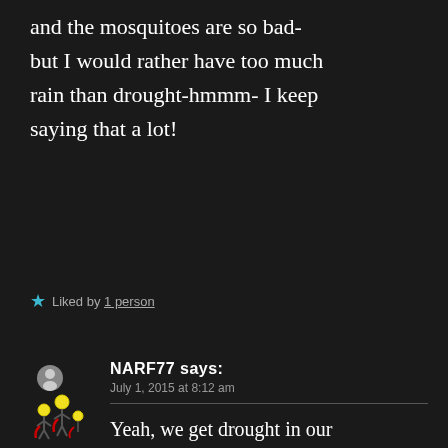and the mosquitoes are so bad- but I would rather have too much rain than drought-hmmm- I keep saying that a lot!
★ Liked by 1 person
[Figure (illustration): User avatar showing cartoon stick figures with light bulb heads and red elements, on dark background]
NARF77 says: July 1, 2015 at 8:12 am
Yeah, we get drought in our summer so enjoy that rain and if there are a few mozzies, might be